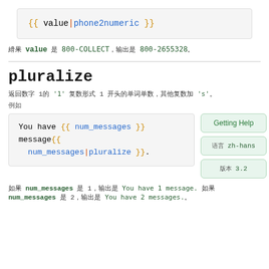[Figure (screenshot): Code block showing: {{ value|phone2numeric }}]
如果 value 是 800-COLLECT，输出是 800-2655328。
pluralize
返回数字 1 的 '1' 复数形式 1 开头的单词单数，其他复数加 's'。
例如
[Figure (screenshot): Code block showing: You have {{ num_messages }} message{{ num_messages|pluralize }}.]
如果 num_messages 是 1，输出是 You have 1 message. 如果 num_messages 是 2，输出是 You have 2 messages。